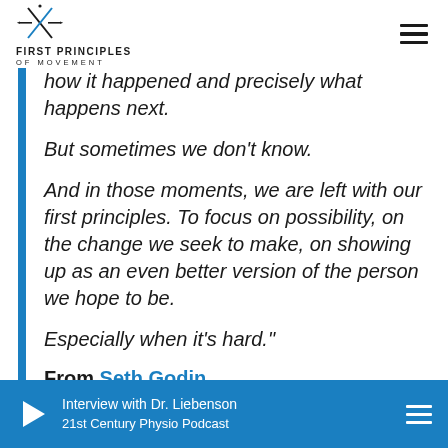[Figure (logo): First Principles of Movement logo with crossed figure icon and text]
how it happened and precisely what happens next.

But sometimes we don't know.

And in those moments, we are left with our first principles. To focus on possibility, on the change we seek to make, on showing up as an even better version of the person we hope to be.

Especially when it's hard."
From Seth Godin
Interview with Dr. Liebenson | 21st Century Physio Podcast